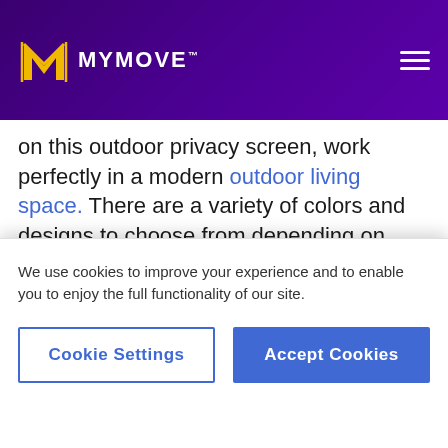MYMOVE
on this outdoor privacy screen, work perfectly in a modern outdoor living space. There are a variety of colors and designs to choose from depending on your home and landscaping theme. The only snag is that you’ll need a fence or wooden structure to hang the plastic mesh screen on. It may work best as a decorative element on top of one of the other wooden screen options.
We use cookies to improve your experience and to enable you to enjoy the full functionality of our site.
Cookie Settings
Accept Cookies